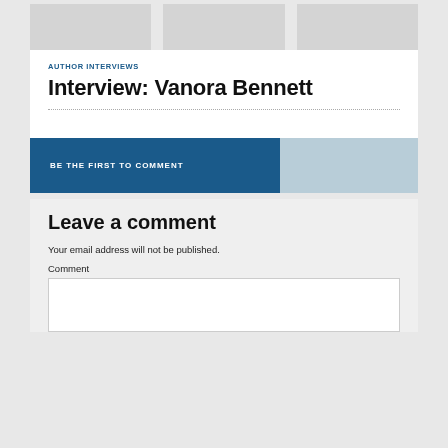[Figure (other): Three grey image placeholder boxes at the top of the page]
AUTHOR INTERVIEWS
Interview: Vanora Bennett
BE THE FIRST TO COMMENT
Leave a comment
Your email address will not be published.
Comment